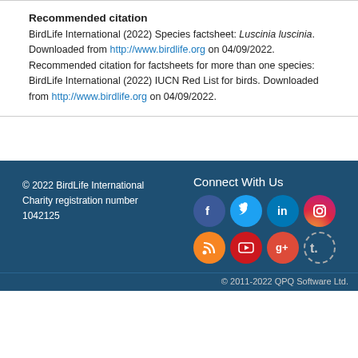Recommended citation
BirdLife International (2022) Species factsheet: Luscinia luscinia. Downloaded from http://www.birdlife.org on 04/09/2022. Recommended citation for factsheets for more than one species: BirdLife International (2022) IUCN Red List for birds. Downloaded from http://www.birdlife.org on 04/09/2022.
© 2022 BirdLife International Charity registration number 1042125
[Figure (infographic): Social media icons: Facebook, Twitter, LinkedIn, Instagram, RSS, YouTube, Google+, Tumblr arranged in two rows of four]
© 2011-2022 QPQ Software Ltd.